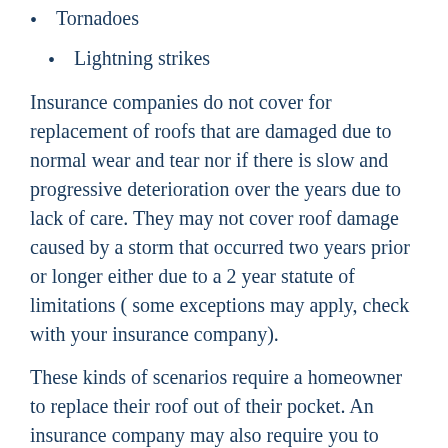Tornadoes
Lightning strikes
Insurance companies do not cover for replacement of roofs that are damaged due to normal wear and tear nor if there is slow and progressive deterioration over the years due to lack of care. They may not cover roof damage caused by a storm that occurred two years prior or longer either due to a 2 year statute of limitations ( some exceptions may apply, check with your insurance company).
These kinds of scenarios require a homeowner to replace their roof out of their pocket. An insurance company may also require you to have your roof in decent shape in order to continue the coverage. On the other hand an insurance company will only pay to replace